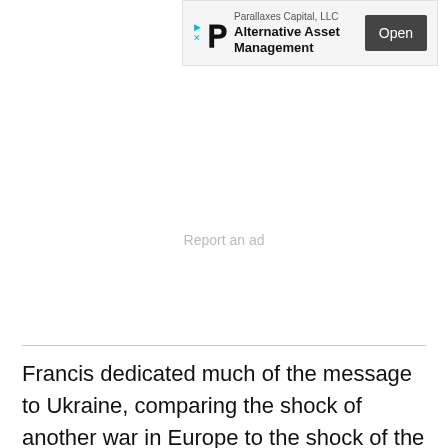[Figure (other): Advertisement banner for Parallaxes Capital, LLC - Alternative Asset Management with Open button]
Report an ad
Francis dedicated much of the message to Ukraine, comparing the shock of another war in Europe to the shock of the apostles when the gospel says they saw the risen Jesus.